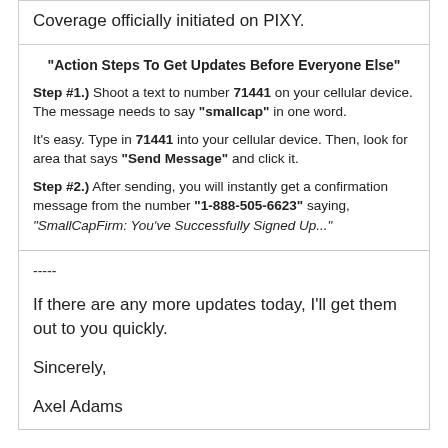Coverage officially initiated on PIXY.
"Action Steps To Get Updates Before Everyone Else"
Step #1.) Shoot a text to number 71441 on your cellular device. The message needs to say "smallcap" in one word.
It's easy. Type in 71441 into your cellular device. Then, look for area that says "Send Message" and click it.
Step #2.) After sending, you will instantly get a confirmation message from the number "1-888-505-6623" saying, "SmallCapFirm: You've Successfully Signed Up..."
-----
If there are any more updates today, I'll get them out to you quickly.
Sincerely,
Axel Adams